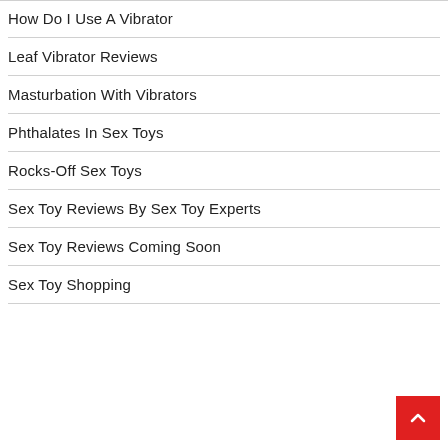How Do I Use A Vibrator
Leaf Vibrator Reviews
Masturbation With Vibrators
Phthalates In Sex Toys
Rocks-Off Sex Toys
Sex Toy Reviews By Sex Toy Experts
Sex Toy Reviews Coming Soon
Sex Toy Shopping